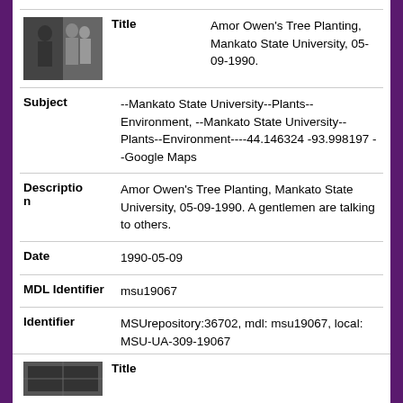[Figure (photo): Black and white thumbnail photo of people talking, used as record thumbnail]
| Title | Amor Owen's Tree Planting, Mankato State University, 05-09-1990. |
| Subject | --Mankato State University--Plants--Environment, --Mankato State University--Plants--Environment----44.146324 -93.998197 --Google Maps |
| Description | Amor Owen's Tree Planting, Mankato State University, 05-09-1990. A gentlemen are talking to others. |
| Date | 1990-05-09 |
| MDL Identifier | msu19067 |
| Identifier | MSUrepository:36702, mdl: msu19067, local: MSU-UA-309-19067 |
[Figure (photo): Black and white thumbnail photo at the bottom of the page, partially visible]